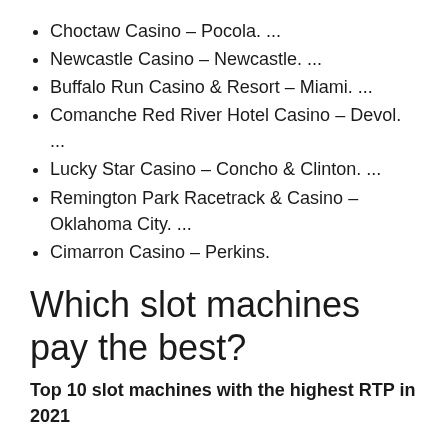Choctaw Casino – Pocola. ...
Newcastle Casino – Newcastle. ...
Buffalo Run Casino & Resort – Miami. ...
Comanche Red River Hotel Casino – Devol. ...
Lucky Star Casino – Concho & Clinton. ...
Remington Park Racetrack & Casino – Oklahoma City. ...
Cimarron Casino – Perkins.
Which slot machines pay the best?
Top 10 slot machines with the highest RTP in 2021